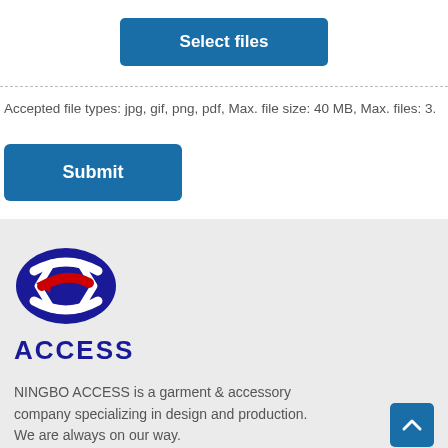[Figure (other): Blue 'Select files' button centered in upload area with dashed border below]
Accepted file types: jpg, gif, png, pdf, Max. file size: 40 MB, Max. files: 3.
[Figure (other): Blue 'Submit' button]
[Figure (logo): ACCESS logo — dark blue oval with white arrows and red arrow, with 'ACCESS' text below in bold dark blue]
NINGBO ACCESS is a garment & accessory company specializing in design and production. We are always on our way.